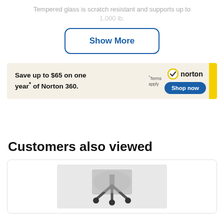Tempered glass is scratch resistant and supports up to 1,000 lb.
Show More
[Figure (infographic): Norton 360 advertisement banner: Save up to $65 on one year of Norton 360. Shop now button. Norton logo with checkmark.]
Customers also viewed
[Figure (photo): Product image showing a chair mat or floor protector with caster wheels visible from below.]